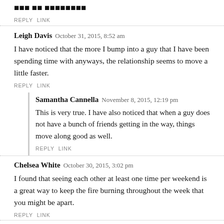Title (truncated/bold at top)
REPLY   LINK
Leigh Davis  October 31, 2015, 8:52 am
I have noticed that the more I bump into a guy that I have been spending time with anyways, the relationship seems to move a little faster.
REPLY   LINK
Samantha Cannella  November 8, 2015, 12:19 pm
This is very true. I have also noticed that when a guy does not have a bunch of friends getting in the way, things move along good as well.
REPLY   LINK
Chelsea White  October 30, 2015, 3:02 pm
I found that seeing each other at least one time per weekend is a great way to keep the fire burning throughout the week that you might be apart.
REPLY   LINK